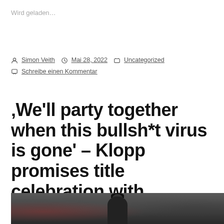Wird geladen…
Simon Veith   Mai 28, 2022   Uncategorized   Schreibe einen Kommentar
‚We'll party together when this bullsh*t virus is gone' – Klopp promises title celebration with Liverpool fans
[Figure (photo): Dark blurred photo of a person in a cap, likely Jürgen Klopp, with a crowd in the background]